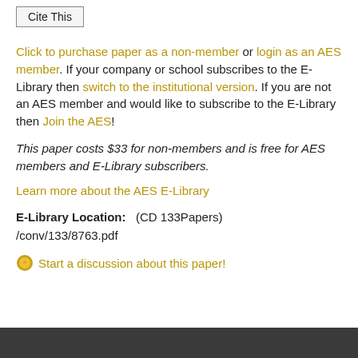Cite This
Click to purchase paper as a non-member or login as an AES member. If your company or school subscribes to the E-Library then switch to the institutional version. If you are not an AES member and would like to subscribe to the E-Library then Join the AES!
This paper costs $33 for non-members and is free for AES members and E-Library subscribers.
Learn more about the AES E-Library
E-Library Location: (CD 133Papers) /conv/133/8763.pdf
Start a discussion about this paper!